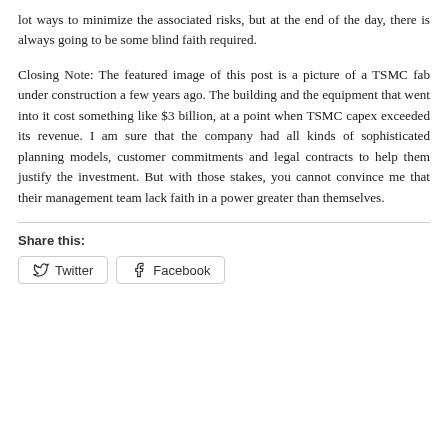lot ways to minimize the associated risks, but at the end of the day, there is always going to be some blind faith required.
Closing Note: The featured image of this post is a picture of a TSMC fab under construction a few years ago. The building and the equipment that went into it cost something like $3 billion, at a point when TSMC capex exceeded its revenue. I am sure that the company had all kinds of sophisticated planning models, customer commitments and legal contracts to help them justify the investment. But with those stakes, you cannot convince me that their management team lack faith in a power greater than themselves.
Share this:
Twitter   Facebook